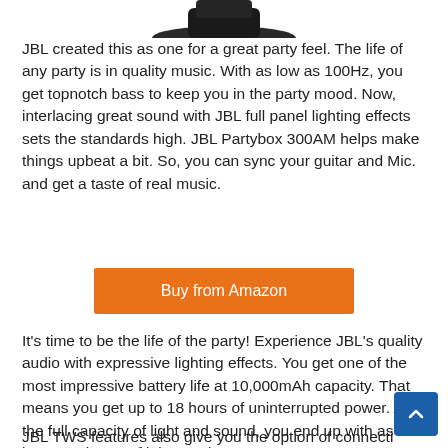[Figure (photo): Partial product image of JBL speaker, cropped at top]
JBL created this as one for a great party feel. The life of any party is in quality music. With as low as 100Hz, you get topnotch bass to keep you in the party mood. Now, interlacing great sound with JBL full panel lighting effects sets the standards high. JBL Partybox 300AM helps make things upbeat a bit. So, you can sync your guitar and Mic. and get a taste of real music.
Buy from Amazon
It's time to be the life of the party! Experience JBL's quality audio with expressive lighting effects. You get one of the most impressive battery life at 10,000mAh capacity. That means you get up to 18 hours of uninterrupted power. At the full capacity of light and sound, you end up with as least 8-9 hours of juice to play.
JBL TWS features also give you the option of connecti…